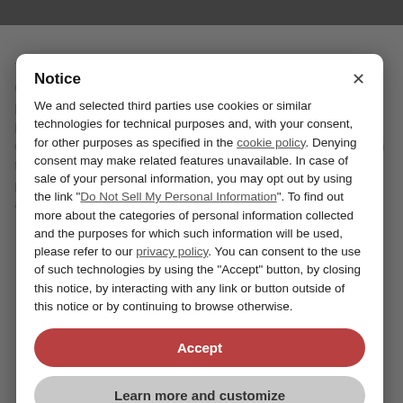Notice
We and selected third parties use cookies or similar technologies for technical purposes and, with your consent, for other purposes as specified in the cookie policy. Denying consent may make related features unavailable. In case of sale of your personal information, you may opt out by using the link "Do Not Sell My Personal Information". To find out more about the categories of personal information collected and the purposes for which such information will be used, please refer to our privacy policy. You can consent to the use of such technologies by using the "Accept" button, by closing this notice, by interacting with any link or button outside of this notice or by continuing to browse otherwise.
Accept
Learn more and customize